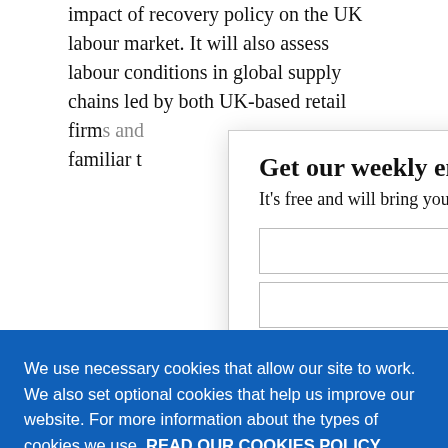impact of recovery policy on the UK labour market. It will also assess labour conditions in global supply chains led by both UK-based retail firms and familiar t…
Get our weekly email
It's free and will bring you the best from
We use necessary cookies that allow our site to work. We also set optional cookies that help us improve our website. For more information about the types of cookies we use. READ OUR COOKIES POLICY HERE
COOKIE SETTINGS
ALLOW ALL COOKIES
data.
Rethinkin…